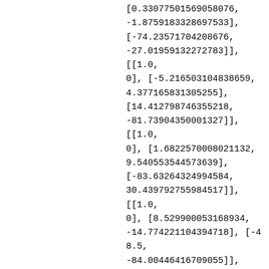[0.33077501569058076, -1.8759183328697533], [-74.23571704208676, -27.019591322727831], [[1.0, 0], [-5.216503104838659, 4.377165831305255], [14.412798746355218, -81.73904350001327]], [[1.0, 0], [1.6822570008021132, 9.540553544573639], [-83.63264324994584, 30.439792755984517]], [[1.0, 0], [8.529900053168934, -14.774221104394718], [-48.5, -84.00446416709055]], [[1.0, 0], [5.989105955534208 5, -10.373435806898598], [-50.5, -87.46856578222831], [[1.0, 0], [6.472327754613696, 11.210400514229111], [-51.5,